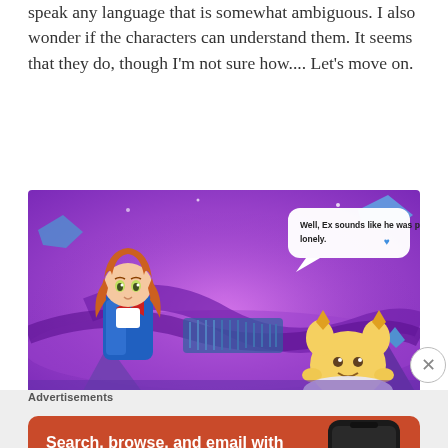speak any language that is somewhat ambiguous. I also wonder if the characters can understand them. It seems that they do, though I'm not sure how.... Let's move on.
[Figure (screenshot): Screenshot of a video game scene with purple/violet background showing a cartoon anime-style girl character with orange hair and a small round yellow creature. A speech bubble reads: 'Well, Ex sounds like he was pretty lonely.' with a small blue heart icon.]
Advertisements
[Figure (screenshot): DuckDuckGo advertisement banner with orange/red background. Text reads 'Search, browse, and email with more privacy.' with a button 'All in One Free App' and a phone mockup showing DuckDuckGo app.]